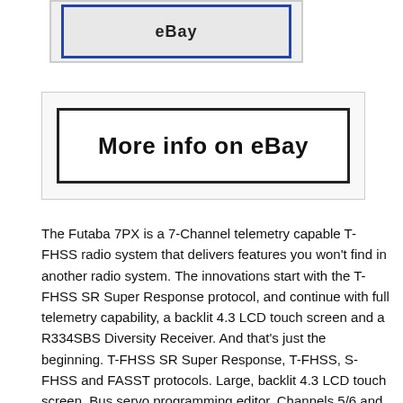[Figure (screenshot): eBay listing image placeholder with blue border]
[Figure (screenshot): More info on eBay button/link image with black border]
The Futaba 7PX is a 7-Channel telemetry capable T-FHSS radio system that delivers features you won't find in another radio system. The innovations start with the T-FHSS SR Super Response protocol, and continue with full telemetry capability, a backlit 4.3 LCD touch screen and a R334SBS Diversity Receiver. And that's just the beginning. T-FHSS SR Super Response, T-FHSS, S-FHSS and FASST protocols. Large, backlit 4.3 LCD touch screen. Bus servo programming editor. Channels 5/6 and 7 feature reversing, end point adjustments, sub-trim, assignable brake mixing and ABS. Wheel/trigger (tension, position, angle) adjustments. Micro memory card slot. Voice message/audio earphone jack. Type: 7-Channel FASST/S-FHSS/T-FHSS/T-FHSS SR. Weight: 20.5 oz (580 g). T-FHSS SR: R334SBS (telemetry pat...